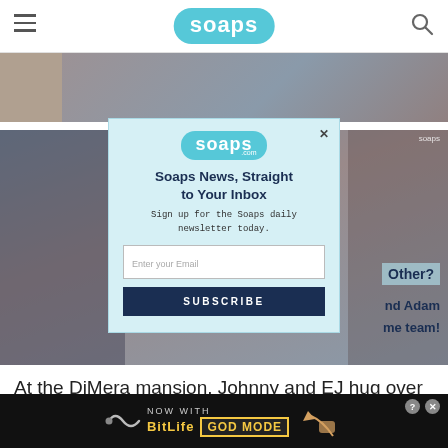soaps
[Figure (photo): Background photo showing people at DiMera mansion, partially visible behind modal dialog]
[Figure (screenshot): Email newsletter signup modal with soaps.com logo, title 'Soaps News, Straight to Your Inbox', email input field, and SUBSCRIBE button]
At the DiMera mansion, Johnny and EJ hug over Johnny signing over his shares. Johnny
[Figure (photo): BitLife ad banner: NOW WITH GOD MODE advertisement at bottom of page]